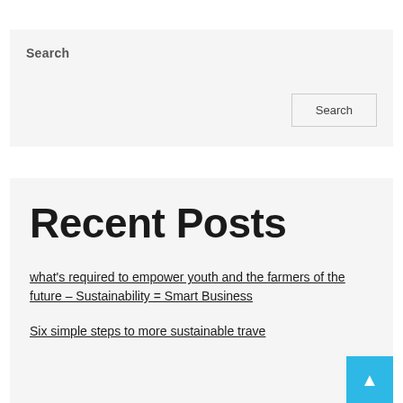Search
Search
Recent Posts
what's required to empower youth and the farmers of the future – Sustainability = Smart Business
Six simple steps to more sustainable trave